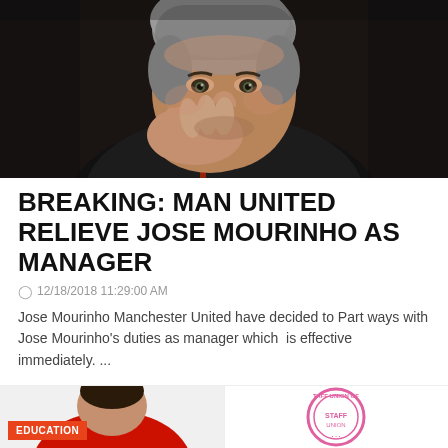[Figure (photo): Close-up photo of Jose Mourinho, a middle-aged man with grey hair, resting his hand near his face, wearing a dark jacket, against a dark background.]
BREAKING: MAN UNITED RELIEVE JOSE MOURINHO AS MANAGER
© 12/18/2018 11:29:00 AM
Jose Mourinho Manchester United have decided to Part ways with Jose Mourinho's duties as manager which is effective immediately. ...
READ MORE
[Figure (photo): Bottom strip showing two partial images: left side shows a person in red clothing with an EDUCATION badge overlay; right side shows a pink circular Staff Union logo/stamp.]